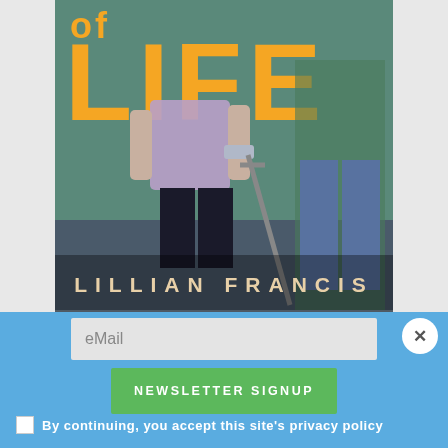[Figure (illustration): Book cover showing partial title 'of LIFE' in large orange/gold letters, two figures (one using a crutch) in a corridor setting, and author name 'LILLIAN FRANCIS' at the bottom]
eMail
NEWSLETTER SIGNUP
By continuing, you accept this site's privacy policy